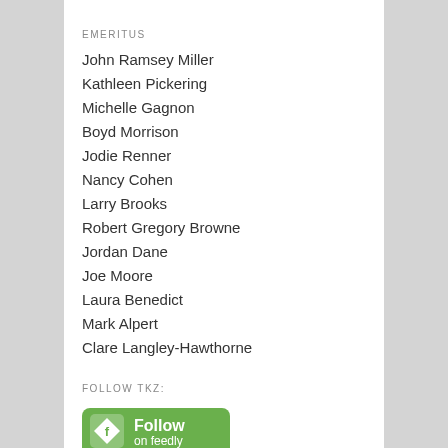EMERITUS
John Ramsey Miller
Kathleen Pickering
Michelle Gagnon
Boyd Morrison
Jodie Renner
Nancy Cohen
Larry Brooks
Robert Gregory Browne
Jordan Dane
Joe Moore
Laura Benedict
Mark Alpert
Clare Langley-Hawthorne
FOLLOW TKZ:
[Figure (logo): Green Feedly button with feedly logo icon and text 'Follow on feedly']